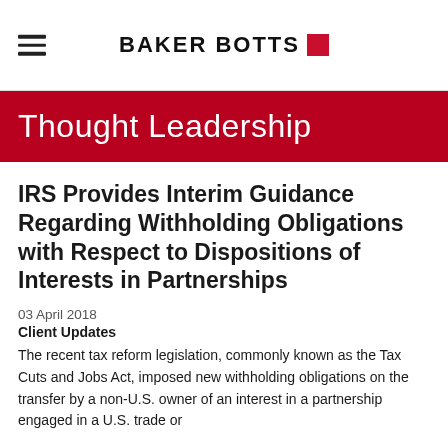BAKER BOTTS
Thought Leadership
IRS Provides Interim Guidance Regarding Withholding Obligations with Respect to Dispositions of Interests in Partnerships
03 April 2018
Client Updates
The recent tax reform legislation, commonly known as the Tax Cuts and Jobs Act, imposed new withholding obligations on the transfer by a non-U.S. owner of an interest in a partnership engaged in a U.S. trade or